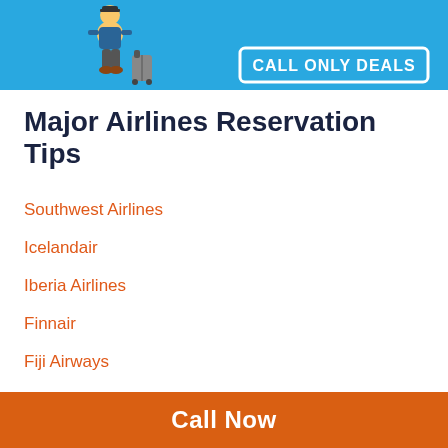[Figure (illustration): Travel banner with cartoon person walking with luggage on blue background, 'CALL ONLY DEALS' text in white box]
Major Airlines Reservation Tips
Southwest Airlines
Icelandair
Iberia Airlines
Finnair
Fiji Airways
Emirates
Etihad Airways
Egyptair
Copa Airlines
Call Now